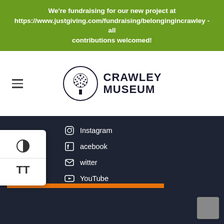We're fundraising for our new project at https://www.justgiving.com/fundraising/belongingincrawley - all contributions welcomed!
[Figure (logo): Crawley Museum logo with a tree inside a circle and text CRAWLEY MUSEUM]
Instagram
Facebook
Twitter
YouTube